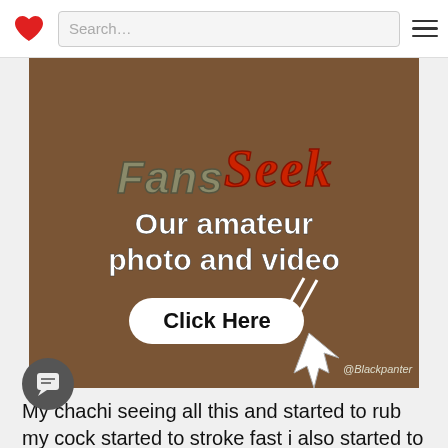Search...
[Figure (photo): Advertisement banner for FansSeek website showing amateur photo and video content with 'Click Here' button]
My chachi seeing all this and started to rub my cock started to stroke fast i also started to press her boobs which is 38 in size then i opened her blouse